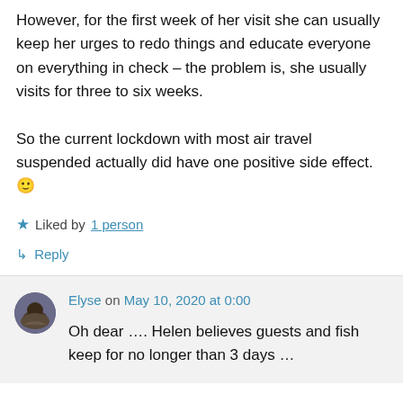However, for the first week of her visit she can usually keep her urges to redo things and educate everyone on everything in check – the problem is, she usually visits for three to six weeks.
So the current lockdown with most air travel suspended actually did have one positive side effect. 🙂
★ Liked by 1 person
↳ Reply
Elyse on May 10, 2020 at 0:00
Oh dear …. Helen believes guests and fish keep for no longer than 3 days …